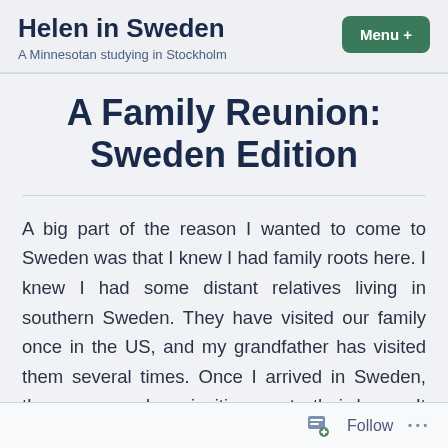Helen in Sweden — A Minnesotan studying in Stockholm
A Family Reunion: Sweden Edition
A big part of the reason I wanted to come to Sweden was that I knew I had family roots here. I knew I had some distant relatives living in southern Sweden. They have visited our family once in the US, and my grandfather has visited them several times. Once I arrived in Sweden, they messaged me inviting me to their home. It was honestly really comforting to know
Follow ...